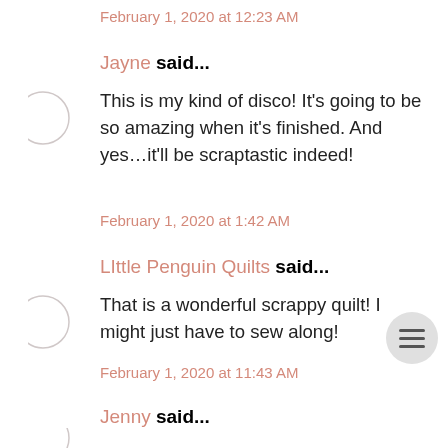February 1, 2020 at 12:23 AM
Jayne said...
This is my kind of disco! It's going to be so amazing when it's finished. And yes…it'll be scraptastic indeed!
February 1, 2020 at 1:42 AM
LIttle Penguin Quilts said...
That is a wonderful scrappy quilt! I might just have to sew along!
February 1, 2020 at 11:43 AM
Jenny said...